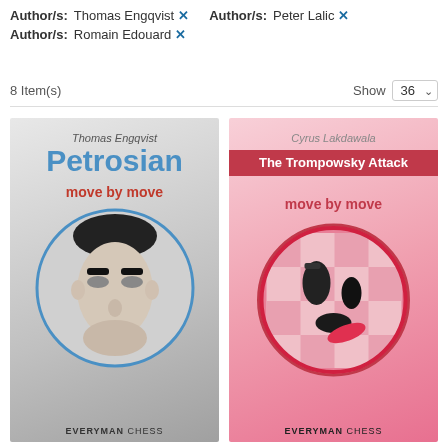Author/s: Thomas Engqvist ✕   Author/s: Peter Lalic ✕
Author/s: Romain Edouard ✕
8 Item(s)   Show 36
[Figure (illustration): Book cover: Petrosian Move by Move by Thomas Engqvist. Grey/white cover with large blue title 'Petrosian', red subtitle 'move by move', circular B&W portrait of Tigran Petrosian, Everyman Chess publisher logo.]
[Figure (illustration): Book cover: The Trompowsky Attack Move by Move by Cyrus Lakdawala. Pink/red cover with white text banner 'The Trompowsky Attack', red subtitle 'move by move', circular image of chess pieces on pink board, Everyman Chess publisher logo.]